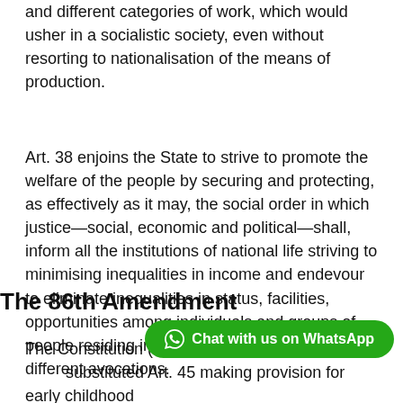and different categories of work, which would usher in a socialistic society, even without resorting to nationalisation of the means of production.
Art. 38 enjoins the State to strive to promote the welfare of the people by securing and protecting, as effectively as it may, the social order in which justice—social, economic and political—shall, inform all the institutions of national life striving to minimising inequalities in income and endevour to eliminate inequalities in status, facilities, opportunities among individuals and groups of people residing in different areas or engaged in different avocations.
The 86th Amendment
The Constitution (Eighty-sixt… substituted Art. 45 making provision for early childhood